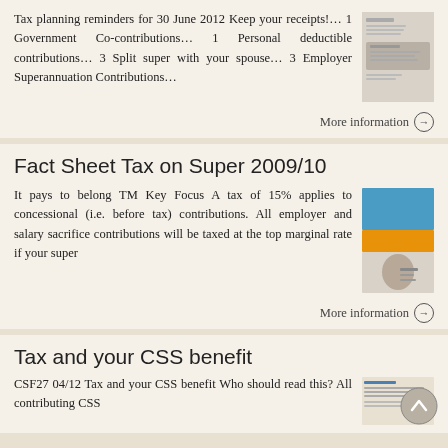Tax planning reminders for 30 June 2012 Keep your receipts!… 1 Government Co-contributions… 1 Personal deductible contributions… 3 Split super with your spouse… 3 Employer Superannuation Contributions…
More information →
Fact Sheet Tax on Super 2009/10
It pays to belong TM Key Focus A tax of 15% applies to concessional (i.e. before tax) contributions. All employer and salary sacrifice contributions will be taxed at the top marginal rate if your super
More information →
Tax and your CSS benefit
CSF27 04/12 Tax and your CSS benefit Who should read this? All contributing CSS